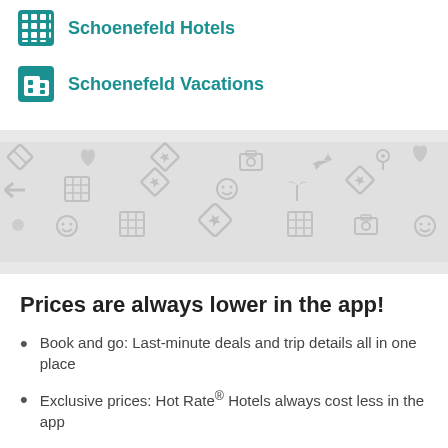Schoenefeld Hotels
Schoenefeld Vacations
[Figure (illustration): Gray patterned background with travel-themed icons including planes, hearts, smiley faces, cameras, hotel grids, and star icons scattered across the surface]
Prices are always lower in the app!
Book and go: Last-minute deals and trip details all in one place
Exclusive prices: Hot Rate® Hotels always cost less in the app
Fresh features: So slick you'll never go back to